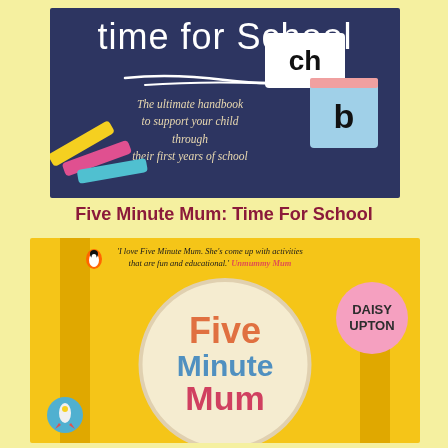[Figure (photo): Book cover of 'Time For School' showing a dark navy chalkboard background with the title in white chalk handwriting, colorful chalk pieces on the left, phonics flashcards ('ch' and 'b') on the right, subtitle text: 'The ultimate handbook to support your child through their first years of school']
Five Minute Mum: Time For School
[Figure (photo): Book cover of 'Five Minute Mum' by Daisy Upton showing a yellow school bag with a circular cream patch badge reading 'Five Minute Mum' in colorful letters, a pink badge saying 'Daisy Upton', a quote from Unmummy Mum, and a small rocket illustration at the bottom left]